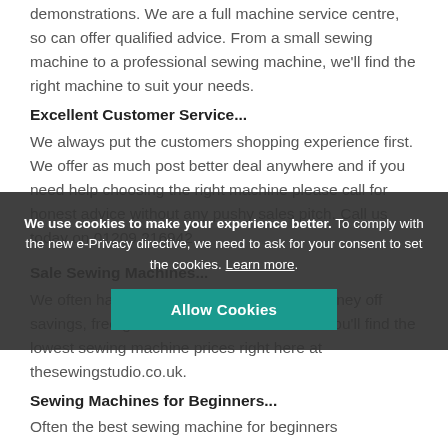demonstrations. We are a full machine service centre, so can offer qualified advice. From a small sewing machine to a professional sewing machine, we'll find the right machine to suit your needs.
Excellent Customer Service...
We always put the customers shopping experience first. We offer as much post better deal anywhere and if you need help choosing the right machine please call for honest advice without any pushy sales pitch. Call us today on 01209 216942.
[Figure (other): Cookie consent banner overlay with text: We use cookies to make your experience better. To comply with the new e-Privacy directive, we need to ask for your consent to set the cookies. Learn more. Button: Allow Cookies]
Sale Sewing Machines...
We often have a little offer available from money off savings, free gifts as-well as bundle deals. You'll find the lowest sewing machine prices right here at thesewingstudio.co.uk.
Sewing Machines for Beginners...
Often the best sewing machine for beginners